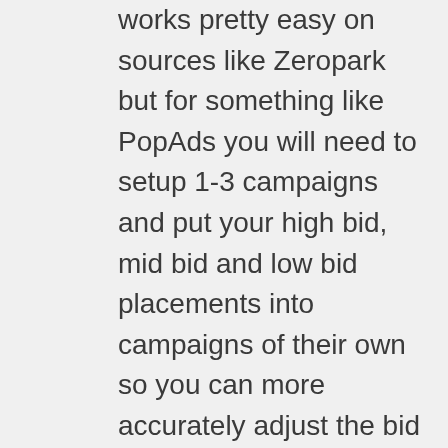works pretty easy on sources like Zeropark but for something like PopAds you will need to setup 1-3 campaigns and put your high bid, mid bid and low bid placements into campaigns of their own so you can more accurately adjust the bid and maintain a good ROI.
Another tip is you can try testing the frequency cap, adjust it from 1/24 to 1/12.. if that works well, then try removing frequency cap completely.
Reply